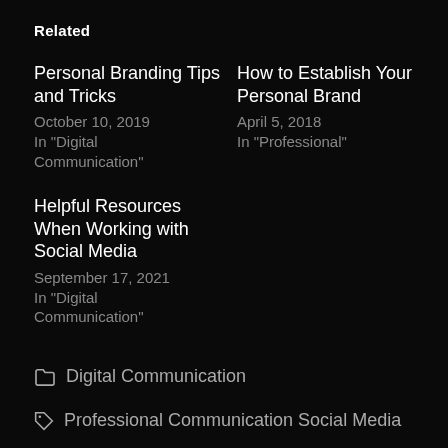Related
Personal Branding Tips and Tricks
October 10, 2019
In "Digital Communication"
How to Establish Your Personal Brand
April 5, 2018
In "Professional"
Helpful Resources When Working with Social Media
September 17, 2021
In "Digital Communication"
Digital Communication
Professional Communication Social Media